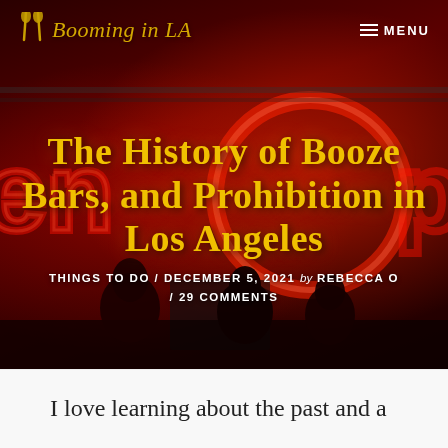Booming in LA
The History of Booze Bars, and Prohibition in Los Angeles
THINGS TO DO / DECEMBER 5, 2021 by REBECCA O / 29 COMMENTS
[Figure (photo): Neon-lit bar interior with red glowing signs and people silhouettes in foreground]
I love learning about the past and a